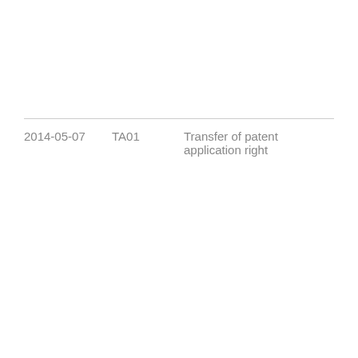| Date | Code | Description |
| --- | --- | --- |
| 2014-05-07 | TA01 | Transfer of patent application right |